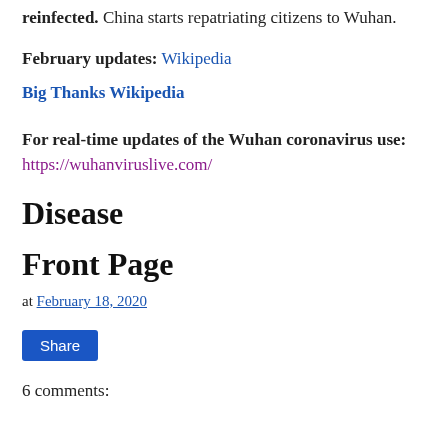reinfected. China starts repatriating citizens to Wuhan.
February updates: Wikipedia
Big Thanks Wikipedia
For real-time updates of the Wuhan coronavirus use: https://wuhanviruslive.com/
Disease
Front Page
at February 18, 2020
Share
6 comments: